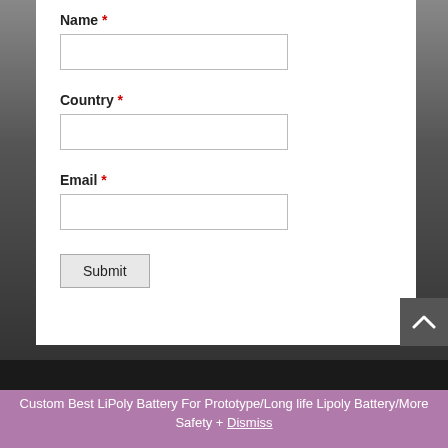Name *
Country *
Email *
Submit
Custom Best LiPoly Battery For Prototype/Long life Lipoly Battery/More Safety + Dismiss